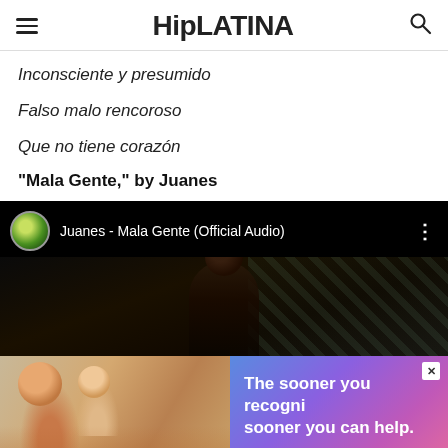HipLATINA
Inconsciente y presumido
Falso malo rencoroso
Que no tiene corazón
“Mala Gente,” by Juanes
[Figure (screenshot): YouTube video embed showing Juanes - Mala Gente (Official Audio) with dark background and artist figure]
[Figure (photo): Advertisement banner: left side shows photo of smiling woman with child, right side shows gradient purple/pink ad with text 'The sooner you recogni... sooner you can help.' and close button X]